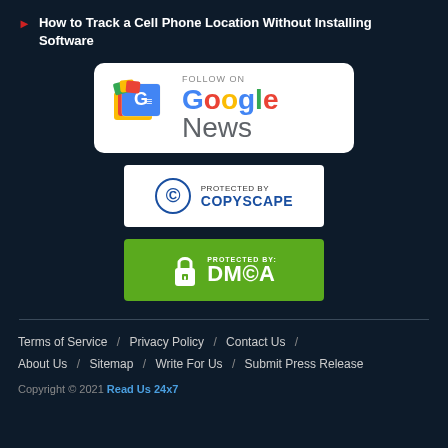How to Track a Cell Phone Location Without Installing Software
[Figure (logo): Follow on Google News badge - white rounded rectangle with Google News icon and text]
[Figure (logo): Protected by Copyscape badge - white rectangle with copyright circle icon and COPYSCAPE text in blue]
[Figure (logo): Protected by DMCA badge - green rectangle with lock icon and DMCA text in white]
Terms of Service / Privacy Policy / Contact Us / About Us / Sitemap / Write For Us / Submit Press Release
Copyright © 2021 Read Us 24x7